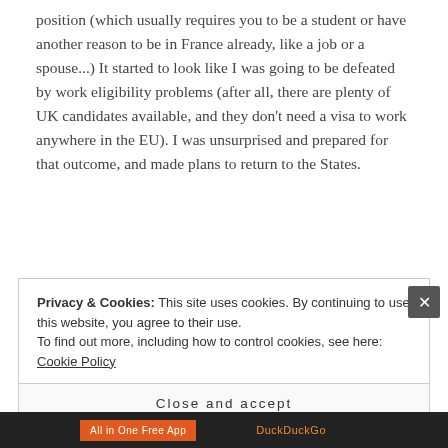position (which usually requires you to be a student or have another reason to be in France already, like a job or a spouse...) It started to look like I was going to be defeated by work eligibility problems (after all, there are plenty of UK candidates available, and they don't need a visa to work anywhere in the EU). I was unsurprised and prepared for that outcome, and made plans to return to the States.
Privacy & Cookies: This site uses cookies. By continuing to use this website, you agree to their use.
To find out more, including how to control cookies, see here: Cookie Policy
Close and accept